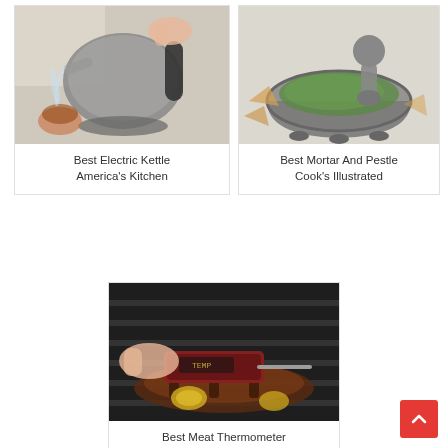[Figure (photo): Photo of an electric kettle being poured, with a cup of tea in the background on a white surface]
Best Electric Kettle America's Kitchen
[Figure (photo): Photo of a granite mortar and pestle with guacamole inside, and tortilla chips nearby on a white surface]
Best Mortar And Pestle Cook's Illustrated
[Figure (photo): Photo of a meat thermometer being inserted into meat on a grill, with grilled lemons visible]
Best Meat Thermometer America's Test Kitchen